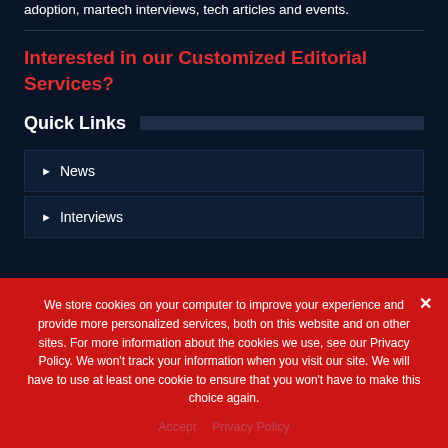adoption, martech interviews, tech articles and events.
Interested in our Customized Editorial Services?
Quick Links
News
Interviews
We store cookies on your computer to improve your experience and provide more personalized services, both on this website and on other sites. For more information about the cookies we use, see our Privacy Policy. We won't track your information when you visit our site. We will have to use at least one cookie to ensure that you won't have to make this choice again.
Accept   Privacy Policy